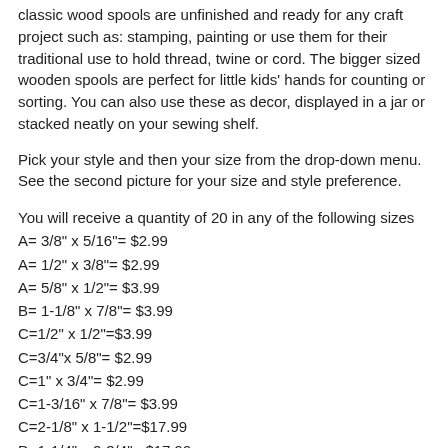classic wood spools are unfinished and ready for any craft project such as: stamping, painting or use them for their traditional use to hold thread, twine or cord. The bigger sized wooden spools are perfect for little kids' hands for counting or sorting. You can also use these as decor, displayed in a jar or stacked neatly on your sewing shelf.
Pick your style and then your size from the drop-down menu. See the second picture for your size and style preference.
You will receive a quantity of 20 in any of the following sizes
A= 3/8" x 5/16"= $2.99
A= 1/2" x 3/8"= $2.99
A= 5/8" x 1/2"= $3.99
B= 1-1/8" x 7/8"= $3.99
C=1/2" x 1/2"=$3.99
C=3/4"x 5/8"= $2.99
C=1" x 3/4"= $2.99
C=1-3/16" x 7/8"= $3.99
C=2-1/8" x 1-1/2"=$17.99
D=1-1/4" x 2-3/4"= $17.99
E= 1-5/16"x 1-3/8"=$17.99